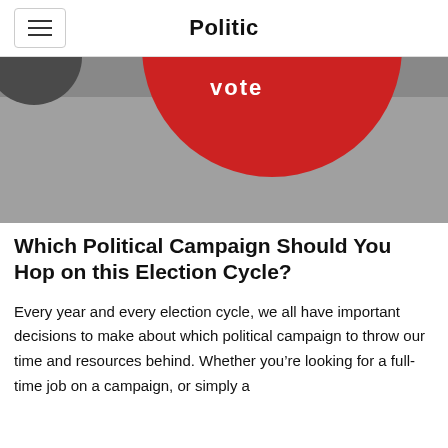Politic
[Figure (photo): A red circular button/badge on a gray background with partial dark circular object visible at upper left]
Which Political Campaign Should You Hop on this Election Cycle?
Every year and every election cycle, we all have important decisions to make about which political campaign to throw our time and resources behind. Whether you’re looking for a full-time job on a campaign, or simply a